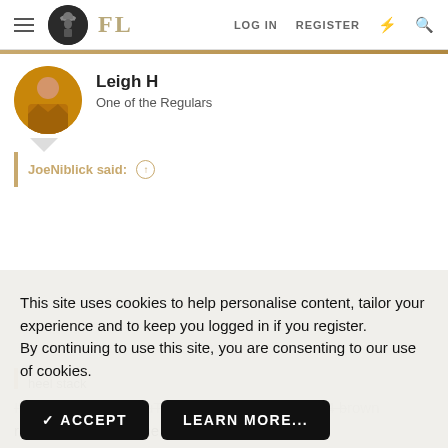FL  LOG IN  REGISTER
Leigh H
One of the Regulars
JoeNiblick said: ↑
This site uses cookies to help personalise content, tailor your experience and to keep you logged in if you register.
By continuing to use this site, you are consenting to our use of cookies.
✓ ACCEPT    LEARN MORE...
heel stack
If you look at the YouTube clip they are the 1964 brown roughout same as the sample photos.